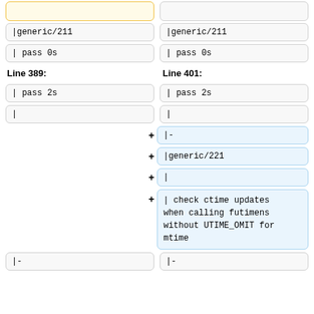|generic/211 (left, top)
|generic/211 (right, top)
| pass 0s (left)
| pass 0s (right)
Line 389:
Line 401:
| pass 2s (left)
| pass 2s (right)
| (left)
| (right)
|- (added)
|generic/221 (added)
| (added)
| check ctime updates when calling futimens without UTIME_OMIT for mtime (added)
|- (left bottom)
|- (right bottom)